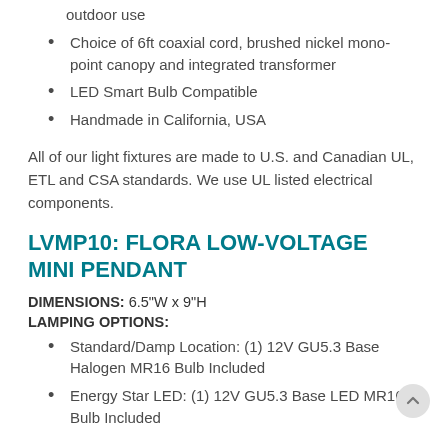resistant to corrosion and weathered for indoor or outdoor use
Choice of 6ft coaxial cord, brushed nickel mono-point canopy and integrated transformer
LED Smart Bulb Compatible
Handmade in California, USA
All of our light fixtures are made to U.S. and Canadian UL, ETL and CSA standards. We use UL listed electrical components.
LVMP10: FLORA LOW-VOLTAGE MINI PENDANT
DIMENSIONS: 6.5"W x 9"H
LAMPING OPTIONS:
Standard/Damp Location: (1) 12V GU5.3 Base Halogen MR16 Bulb Included
Energy Star LED: (1) 12V GU5.3 Base LED MR16 Bulb Included